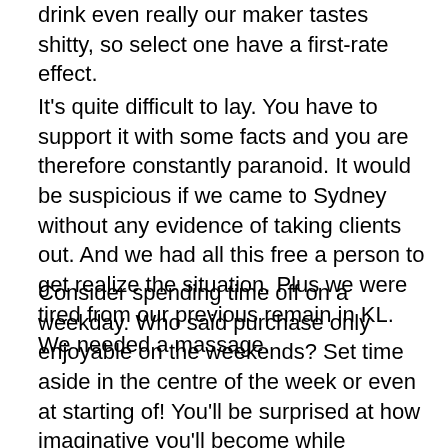drink even really our maker tastes shitty, so select one have a first-rate effect.
It's quite difficult to lay. You have to support it with some facts and you are therefore constantly paranoid. It would be suspicious if we came to Sydney without any evidence of taking clients out. And we had all this free a person to get realize the situation. Plus we were tired from our previous remain in KL. We needed a massage.
Consider spending time off on a weekday. Who said purchase only enjoyable on the weekends? Set time aside in the centre of the week or even at starting of! You'll be surprised at how imaginative you'll become while creating your fun time.